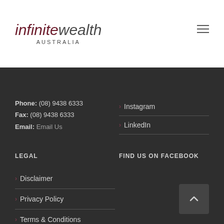[Figure (logo): Infinite Wealth Australia logo — italic text with 'infinite' in dark red and 'wealth' in grey, 'AUSTRALIA' in small caps below]
Phone: (08) 9438 6333
Fax: (08) 9438 6333
Email: Email Us
> Instagram
> LinkedIn
LEGAL
FIND US ON FACEBOOK
> Disclaimer
> Privacy Policy
> Terms & Conditions